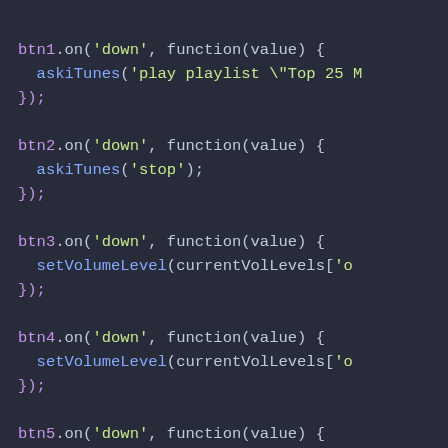btn1.on('down', function(value) {
  askiTunes('play playlist \"Top 25 M
});
btn2.on('down', function(value) {
  askiTunes('stop');
});
btn3.on('down', function(value) {
  setVolumeLevel(currentVolLevels['o
});
btn4.on('down', function(value) {
  setVolumeLevel(currentVolLevels['o
});
btn5.on('down', function(value) {
  toggleMute();